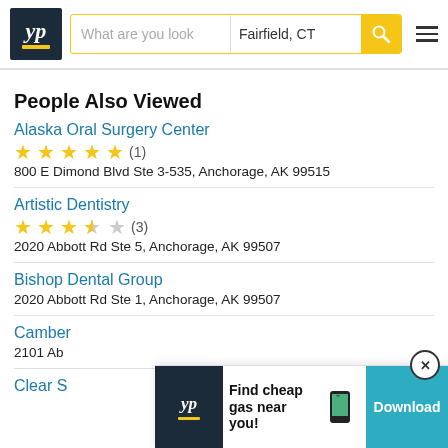YP | What are you look | Fairfield, CT | Search
People Also Viewed
Alaska Oral Surgery Center
★★★★★ (1)
800 E Dimond Blvd Ste 3-535, Anchorage, AK 99515
Artistic Dentistry
★★★½☆ (3)
2020 Abbott Rd Ste 5, Anchorage, AK 99507
Bishop Dental Group
2020 Abbott Rd Ste 1, Anchorage, AK 99507
Camber
2101 Ab
Clear S
[Figure (screenshot): YP app advertisement banner: 'Find cheap gas near you! Download']